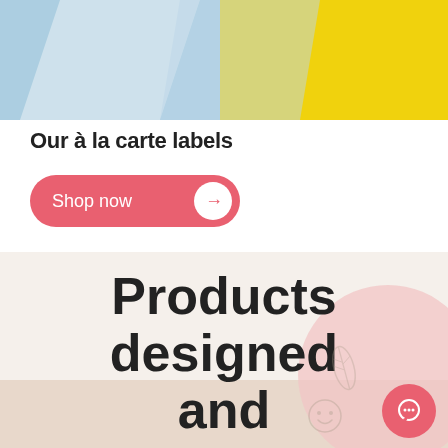[Figure (photo): Top portion of product image showing blue and yellow colored labels/products cropped at top of page]
Our à la carte labels
Shop now →
Products designed and illustrated in Quebec.
[Figure (illustration): Pink circle decoration, leaf icon, smiley icon, and coral chat bubble button in lower right corner]